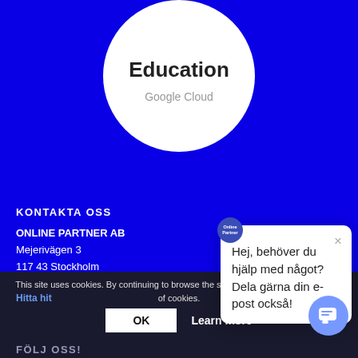[Figure (logo): Google Cloud Education badge/logo in a white circle on blue background. Shows 'Education' in bold black text and 'Google Cloud' in gray text below.]
KONTAKTA OSS
ONLINE PARTNER AB
Mejerivägen 3
117 43 Stockholm
E-post: info@onlinepartn
Tel: 08-42 00 04 00
[Figure (screenshot): Chat popup overlay with close X button. Text reads: 'Hej, behöver du hjälp med något? Dela gärna din e-post också!']
This site uses cookies. By continuing to browse the site, you are agreeing to our use of cookies.
Hitta hit
OK
Learn more
FÖLJ OSS!